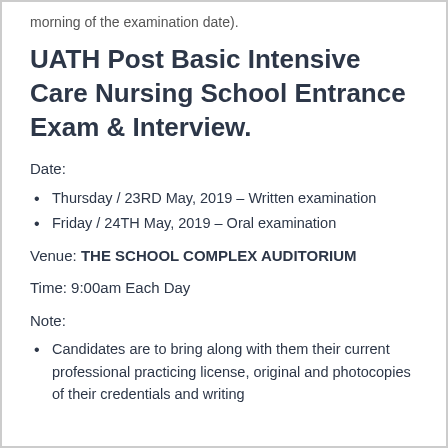morning of the examination date).
UATH Post Basic Intensive Care Nursing School Entrance Exam & Interview.
Date:
Thursday / 23RD May, 2019 – Written examination
Friday / 24TH May, 2019 – Oral examination
Venue: THE SCHOOL COMPLEX AUDITORIUM
Time: 9:00am Each Day
Note:
Candidates are to bring along with them their current professional practicing license, original and photocopies of their credentials and writing